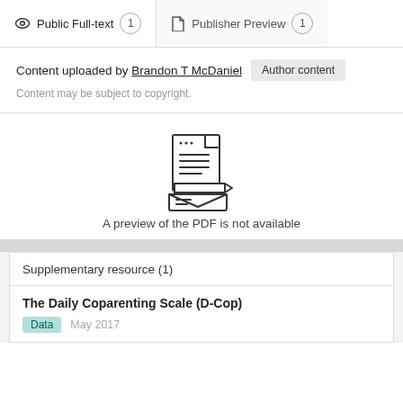Public Full-text (1)
Publisher Preview (1)
Content uploaded by Brandon T McDaniel
Author content
Content may be subject to copyright.
[Figure (illustration): Icon showing a document with lines of text and a pen/pencil signing below it]
A preview of the PDF is not available
Supplementary resource (1)
The Daily Coparenting Scale (D-Cop)
Data  May 2017